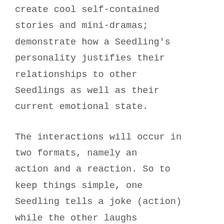create cool self-contained stories and mini-dramas; demonstrate how a Seedling's personality justifies their relationships to other Seedlings as well as their current emotional state.
The interactions will occur in two formats, namely an action and a reaction. So to keep things simple, one Seedling tells a joke (action) while the other laughs (reacts). These formats, or roles, will vary between the